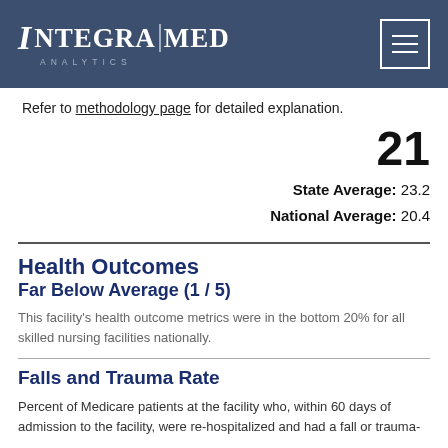INTEGRA|MED ANALYTICS
Refer to methodology page for detailed explanation.
21
State Average: 23.2
National Average: 20.4
Health Outcomes
Far Below Average (1 / 5)
This facility's health outcome metrics were in the bottom 20% for all skilled nursing facilities nationally.
Falls and Trauma Rate
Percent of Medicare patients at the facility who, within 60 days of admission to the facility, were re-hospitalized and had a fall or trauma-